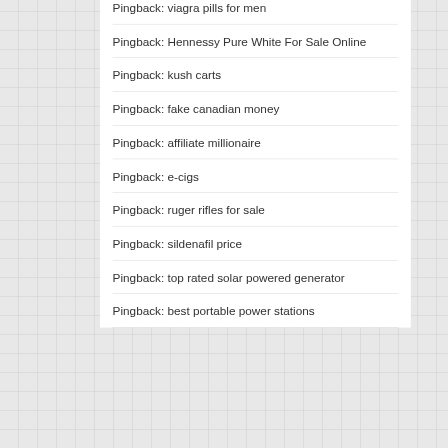Pingback: viagra pills for men
Pingback: Hennessy Pure White For Sale Online
Pingback: kush carts
Pingback: fake canadian money
Pingback: affiliate millionaire
Pingback: e-cigs
Pingback: ruger rifles for sale
Pingback: sildenafil price
Pingback: top rated solar powered generator
Pingback: best portable power stations